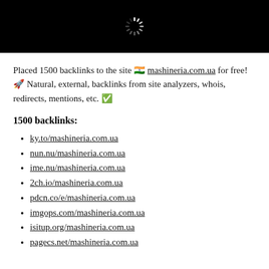[Figure (screenshot): Black banner with a white loading spinner icon centered at the top of the page]
Placed 1500 backlinks to the site 🇮🇳 mashineria.com.ua for free! 🚀 Natural, external, backlinks from site analyzers, whois, redirects, mentions, etc. ✅
1500 backlinks:
ky.to/mashineria.com.ua
nun.nu/mashineria.com.ua
ime.nu/mashineria.com.ua
2ch.io/mashineria.com.ua
pdcn.co/e/mashineria.com.ua
imgops.com/mashineria.com.ua
isitup.org/mashineria.com.ua
pagecs.net/mashineria.com.ua